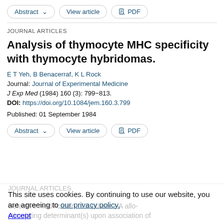Abstract ∨   View article   PDF
JOURNAL ARTICLES
Analysis of thymocyte MHC specificity with thymocyte hybridomas.
E T Yeh, B Benacerraf, K L Rock
Journal: Journal of Experimental Medicine
J Exp Med (1984) 160 (3): 799–813.
DOI: https://doi.org/10.1084/jem.160.3.799
Published: 01 September 1984
Abstract ∨   View article   PDF
This site uses cookies. By continuing to use our website, you are agreeing to our privacy policy. Accept